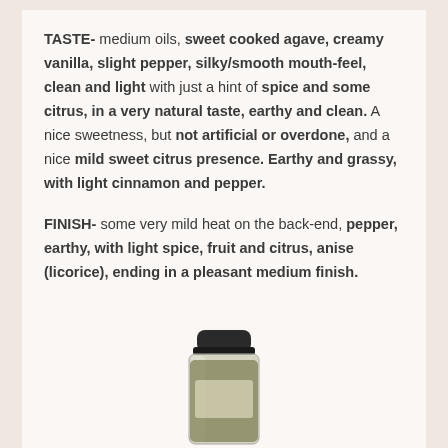TASTE- medium oils, sweet cooked agave, creamy vanilla, slight pepper, silky/smooth mouth-feel, clean and light with just a hint of spice and some citrus, in a very natural taste, earthy and clean. A nice sweetness, but not artificial or overdone, and a nice mild sweet citrus presence. Earthy and grassy, with light cinnamon and pepper.
FINISH- some very mild heat on the back-end, pepper, earthy, with light spice, fruit and citrus, anise (licorice), ending in a pleasant medium finish.
[Figure (photo): A small glass spice jar with a dark lid, partially visible at the bottom of the page]